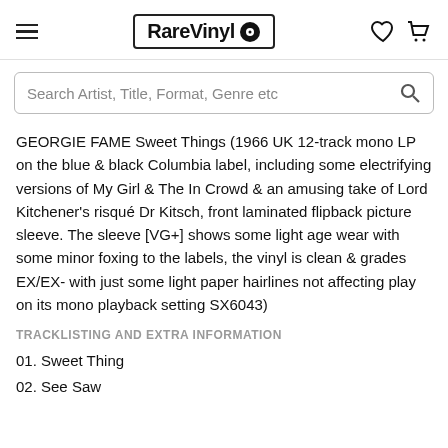RareVinyl
Search Artist, Title, Format, Genre etc
GEORGIE FAME Sweet Things (1966 UK 12-track mono LP on the blue & black Columbia label, including some electrifying versions of My Girl & The In Crowd & an amusing take of Lord Kitchener's risqué Dr Kitsch, front laminated flipback picture sleeve. The sleeve [VG+] shows some light age wear with some minor foxing to the labels, the vinyl is clean & grades EX/EX- with just some light paper hairlines not affecting play on its mono playback setting SX6043)
TRACKLISTING AND EXTRA INFORMATION
01. Sweet Thing
02. See Saw